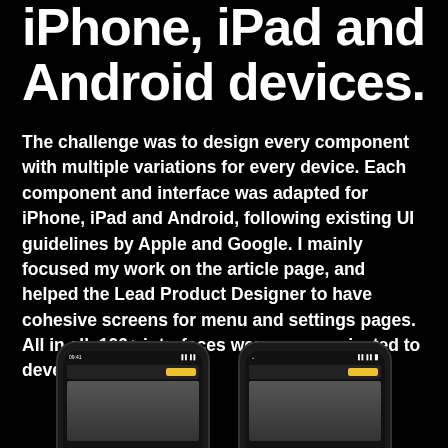iPhone, iPad and Android devices.
The challenge was to design every component with multiple variations for every device. Each component and interface was adapted for iPhone, iPad and Android, following existing UI guidelines by Apple and Google. I mainly focused my work on the article page, and helped the Lead Product Designer to have cohesive screens for menu and settings pages. All in all, 100+ interfaces were communicated to developers.
[Figure (screenshot): Two iPhone mockups showing mobile app screens with a yellow button element, displayed at the bottom of the page against a black background.]